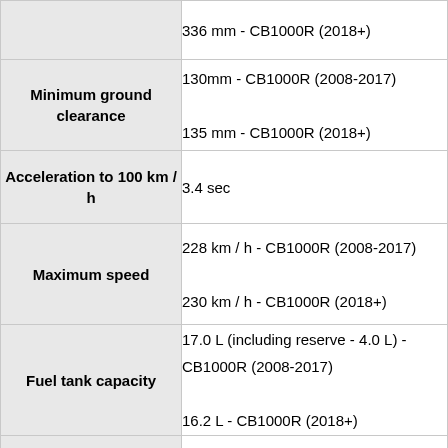| Specification | Value |
| --- | --- |
|  | 336 mm - CB1000R (2018+) |
| Minimum ground clearance | 130mm - CB1000R (2008-2017)
135 mm - CB1000R (2018+) |
| Acceleration to 100 km / h | 3.4 sec |
| Maximum speed | 228 km / h - CB1000R (2008-2017)
230 km / h - CB1000R (2018+) |
| Fuel tank capacity | 17.0 L (including reserve - 4.0 L) - CB1000R (2008-2017)
16.2 L - CB1000R (2018+) |
| Motorcycle weight | 217 kg - CB1000R (2008-2017)
222 kg - CB1000R ABS (2008-2017) |